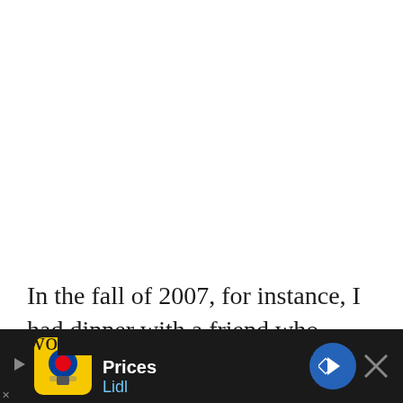In the fall of 2007, for instance, I had dinner with a friend who worked in the corporate office of The Sharper Image, a company that manufactured fun and fancy gadgets. The company's stock was in the toilet, but my friend sa[id...] wo[rked...]
[Figure (other): Advertisement banner for Lidl 'Suspiciously Low Prices' with yellow Lidl logo icon, blue navigation arrow, and close X button on dark background]